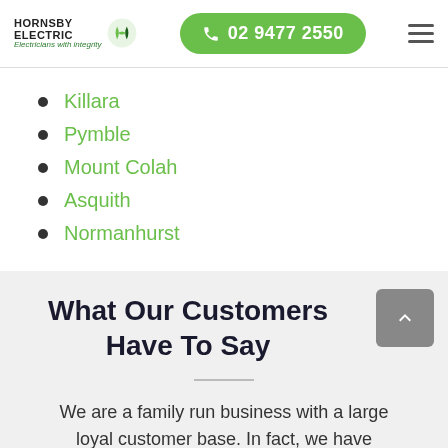HORNSBY ELECTRIC — Electricians with integrity | 02 9477 2550
Killara
Pymble
Mount Colah
Asquith
Normanhurst
What Our Customers Have To Say
We are a family run business with a large loyal customer base. In fact, we have